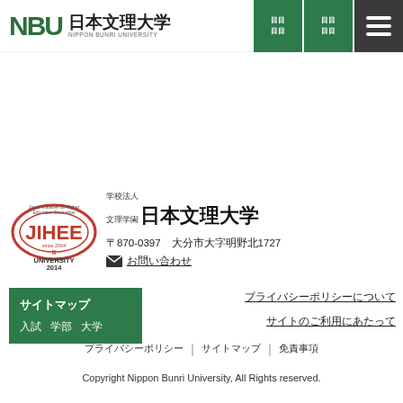NBU 日本文理大学 NIPPON BUNRI UNIVERSITY
[Figure (logo): JIHEE University logo with oval graphic, JIHEE text in red, since 2004, II, UNIVERSITY 2014]
学校法人 文理学園 日本文理大学
〒870-0397 大分市大字明野北1727
✉ お問い合わせ
サイトマップ
サイト内検索 お問い合わせ
プライバシーポリシー｜サイトマップ｜免責事項
Copyright Nippon Bunri University, All Rights reserved.